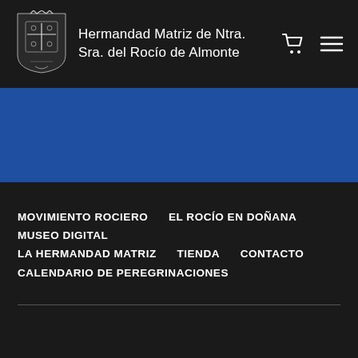Hermandad Matriz de Ntra. Sra. del Rocío de Almonte
[Figure (logo): Coat of arms / crest logo of Hermandad Matriz de Ntra. Sra. del Rocío de Almonte]
[Figure (illustration): Blue banner background section]
MOVIMIENTO ROCIERO
EL ROCÍO EN DOÑANA
MUSEO DIGITAL
LA HERMANDAD MATRIZ
TIENDA
CONTACTO
CALENDARIO DE PEREGRINACIONES